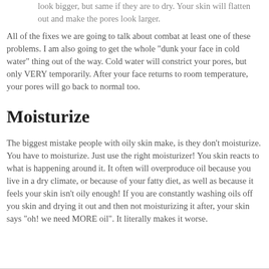look bigger, but same if they are to dry. Your skin will flatten out and make the pores look larger.
All of the fixes we are going to talk about combat at least one of these problems. I am also going to get the whole "dunk your face in cold water" thing out of the way. Cold water will constrict your pores, but only VERY temporarily. After your face returns to room temperature, your pores will go back to normal too.
Moisturize
The biggest mistake people with oily skin make, is they don't moisturize. You have to moisturize. Just use the right moisturizer! You skin reacts to what is happening around it. It often will overproduce oil because you live in a dry climate, or because of your fatty diet, as well as because it feels your skin isn't oily enough! If you are constantly washing oils off you skin and drying it out and then not moisturizing it after, your skin says "oh! we need MORE oil". It literally makes it worse.